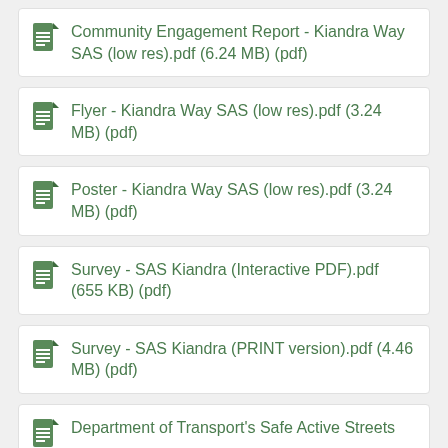Community Engagement Report - Kiandra Way SAS (low res).pdf (6.24 MB) (pdf)
Flyer - Kiandra Way SAS (low res).pdf (3.24 MB) (pdf)
Poster - Kiandra Way SAS (low res).pdf (3.24 MB) (pdf)
Survey - SAS Kiandra (Interactive PDF).pdf (655 KB) (pdf)
Survey - SAS Kiandra (PRINT version).pdf (4.46 MB) (pdf)
Department of Transport's Safe Active Streets